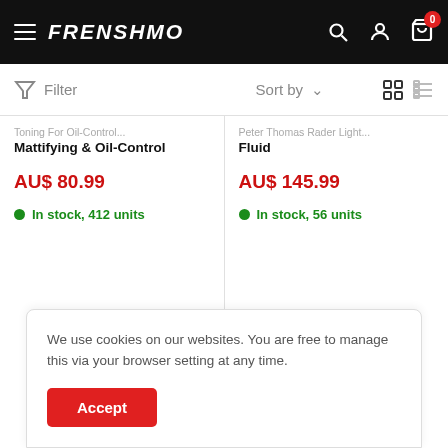FRENSHMO — navigation header with hamburger menu, search, account, and cart (0 items)
Filter   Sort by   (grid and list view icons)
Mattifying & Oil-Control
AU$ 80.99
In stock, 412 units
Fluid
AU$ 145.99
In stock, 56 units
We use cookies on our websites. You are free to manage this via your browser setting at any time.